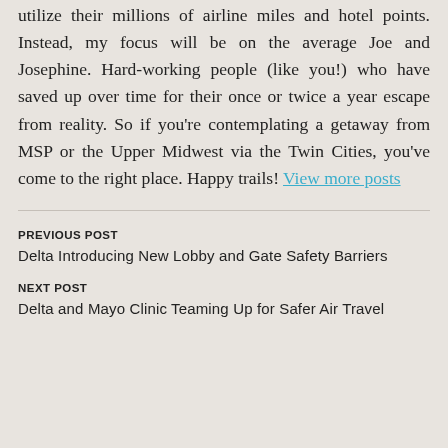utilize their millions of airline miles and hotel points. Instead, my focus will be on the average Joe and Josephine. Hard-working people (like you!) who have saved up over time for their once or twice a year escape from reality. So if you're contemplating a getaway from MSP or the Upper Midwest via the Twin Cities, you've come to the right place. Happy trails! View more posts
PREVIOUS POST
Delta Introducing New Lobby and Gate Safety Barriers
NEXT POST
Delta and Mayo Clinic Teaming Up for Safer Air Travel